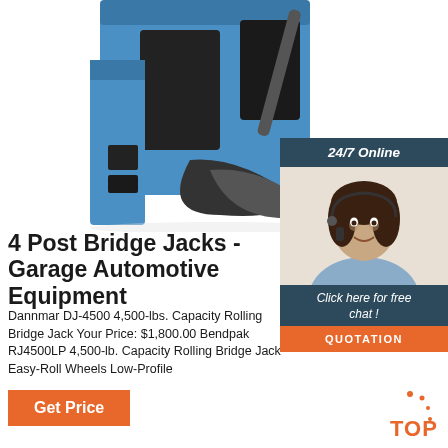[Figure (photo): Close-up photo of a blue automotive bridge jack machine with black mechanical parts]
[Figure (photo): Chat widget: 24/7 Online banner with a woman wearing headset smiling, 'Click here for free chat!' text and orange QUOTATION button]
4 Post Bridge Jacks - Garage Automotive Equipment
Dannmar DJ-4500 4,500-lbs. Capacity Rolling Bridge Jack Your Price: $1,800.00 Bendpak RJ4500LP 4,500-lb. Capacity Rolling Bridge Jack Easy-Roll Wheels Low-Profile
Get Price
[Figure (illustration): Orange TOP scroll-to-top button with dots]